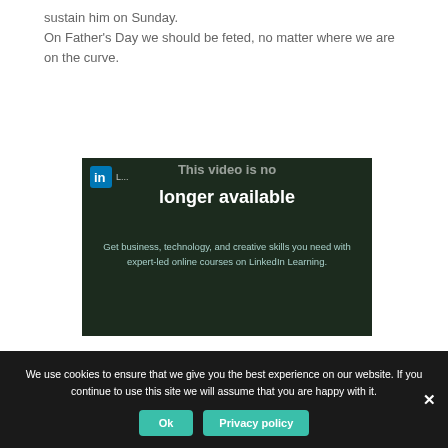sustain him on Sunday.
On Father’s Day we should be feted, no matter where we are on the curve.
[Figure (screenshot): LinkedIn Learning video unavailable overlay: 'This video is no longer available. Get business, technology, and creative skills you need with expert-led online courses on LinkedIn Learning.']
We use cookies to ensure that we give you the best experience on our website. If you continue to use this site we will assume that you are happy with it.